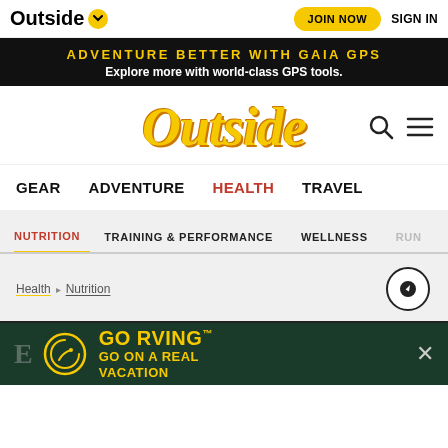Outside | JOIN NOW | SIGN IN
ADVENTURE BETTER WITH GAIA GPS
Explore more with world-class GPS tools.
[Figure (logo): Outside magazine logo in yellow/orange italic serif font with search and menu icons]
GEAR   ADVENTURE   HEALTH   TRAVEL
NUTRITION   TRAINING & PERFORMANCE   WELLNESS   RUN
Health > Nutrition
[Figure (illustration): GO RVING advertisement banner with yellow logo and GO ON A REAL VACATION tagline on dark green background]